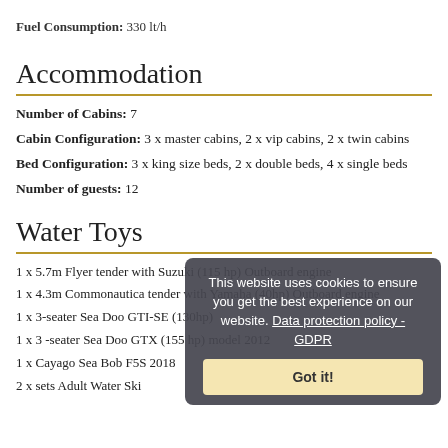Fuel Consumption: 330 lt/h
Accommodation
Number of Cabins: 7
Cabin Configuration: 3 x master cabins, 2 x vip cabins, 2 x twin cabins
Bed Configuration: 3 x king size beds, 2 x double beds, 4 x single beds
Number of guests: 12
Water Toys
1 x 5.7m Flyer tender with Suzuki (115 hp) Outboard engine
1 x 4.3m Commonautica tender with Yamaha (40hp) Outboard engine
1 x 3-seater Sea Doo GTI-SE (130hp)
1 x 3 -seater Sea Doo GTX (155 hp) model 2012
1 x Cayago Sea Bob F5S 2018
2 x sets Adult Water Ski
This website uses cookies to ensure you get the best experience on our website. Data protection policy - GDPR